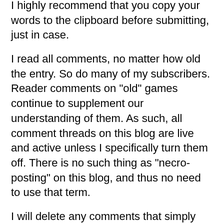I highly recommend that you copy your words to the clipboard before submitting, just in case.
I read all comments, no matter how old the entry. So do many of my subscribers. Reader comments on "old" games continue to supplement our understanding of them. As such, all comment threads on this blog are live and active unless I specifically turn them off. There is no such thing as "necro-posting" on this blog, and thus no need to use that term.
I will delete any comments that simply point out typos. If you want to use the commenting system to alert me to them, great, I appreciate it, but there's no reason to leave such comments preserved for posterity.
I'm sorry for any difficulty commenting. I turn moderation on and off and "word verification" on and off frequently depending on the volume of spam I'm receiving. I only use either when spam